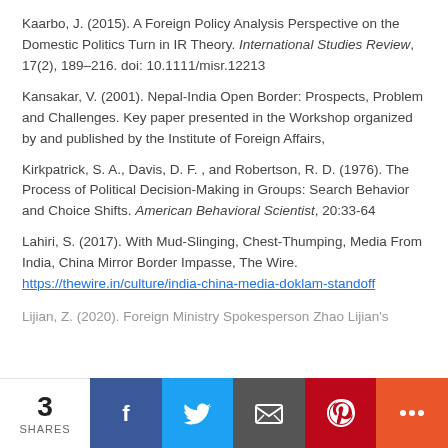Kaarbo, J. (2015). A Foreign Policy Analysis Perspective on the Domestic Politics Turn in IR Theory. International Studies Review, 17(2), 189–216. doi: 10.1111/misr.12213
Kansakar, V. (2001). Nepal-India Open Border: Prospects, Problem and Challenges. Key paper presented in the Workshop organized by and published by the Institute of Foreign Affairs,
Kirkpatrick, S. A., Davis, D. F. , and Robertson, R. D. (1976). The Process of Political Decision-Making in Groups: Search Behavior and Choice Shifts. American Behavioral Scientist, 20:33-64
Lahiri, S. (2017). With Mud-Slinging, Chest-Thumping, Media From India, China Mirror Border Impasse, The Wire. https://thewire.in/culture/india-china-media-doklam-standoff
Lijian, Z. (2020). Foreign Ministry Spokesperson Zhao Lijian's
3 SHARES  [social share buttons: Facebook, Twitter, Email, Pinterest, More]